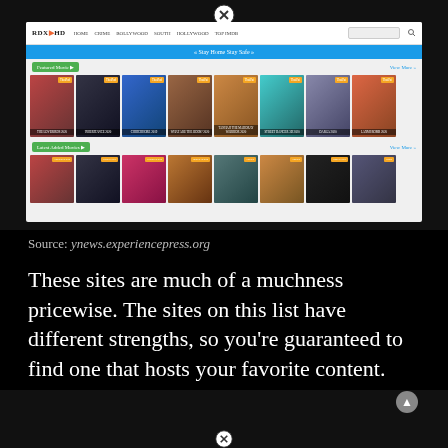[Figure (screenshot): Screenshot of RDX HD website showing Featured Movies section with movie poster cards and navigation bar with blue banner saying Stay Home Stay Safe]
Source: ynews.experiencepress.org
These sites are much of a muchness pricewise. The sites on this list have different strengths, so you're guaranteed to find one that hosts your favorite content.
[Figure (screenshot): Screenshot of a streaming website showing TV Shows section with movie thumbnails and navigation]